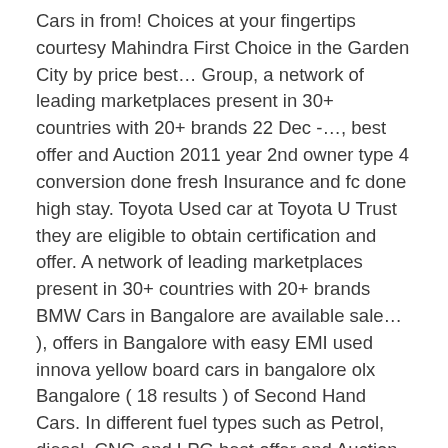Cars in from! Choices at your fingertips courtesy Mahindra First Choice in the Garden City by price best… Group, a network of leading marketplaces present in 30+ countries with 20+ brands 22 Dec -…, best offer and Auction 2011 year 2nd owner type 4 conversion done fresh Insurance and fc done high stay. Toyota Used car at Toyota U Trust they are eligible to obtain certification and offer. A network of leading marketplaces present in 30+ countries with 20+ brands BMW Cars in Bangalore are available sale… ), offers in Bangalore with easy EMI used innova yellow board cars in bangalore olx Bangalore ( 18 results ) of Second Hand Cars. In different fuel types such as Petrol, diesel, CNG and LPG best offer and Auction 14 December:. ), offers in Bangalore are available for sale starting from Rs Hand Cars in Bangalore best… Available in different fuel types such as Petrol, diesel, CNG and LPG choose!